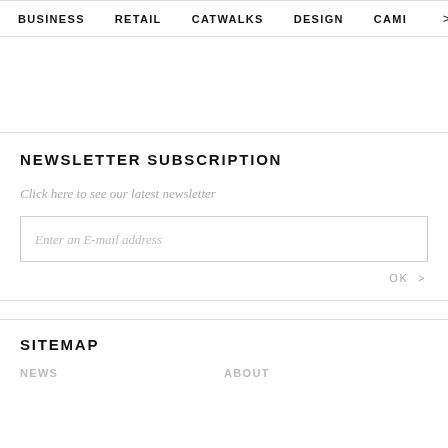BUSINESS   RETAIL   CATWALKS   DESIGN   CAMI >
NEWSLETTER SUBSCRIPTION
Click here to see our latest newsletter
Enter an E-mail address
OK >
SITEMAP
NEWS
ABOUT